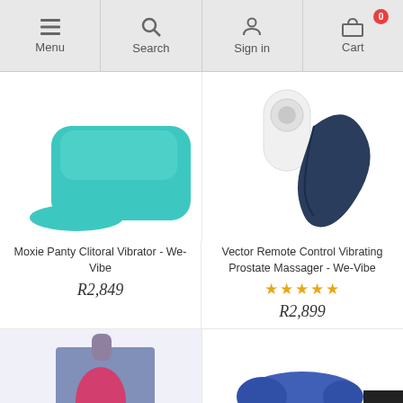Menu | Search | Sign in | Cart (0)
[Figure (photo): Moxie panty vibrator product image - teal/turquoise colored device on white background]
Moxie Panty Clitoral Vibrator - We-Vibe
R2,849
[Figure (photo): Vector Remote Control Vibrating Prostate Massager product image - dark navy blue device with white remote on white background]
Vector Remote Control Vibrating Prostate Massager - We-Vibe
★★★★★ (star rating)
R2,899
[Figure (photo): We-Vibe product in blue/purple box packaging, partial view at bottom of page]
[Figure (photo): Blue vibrator product, partial view at bottom right of page]